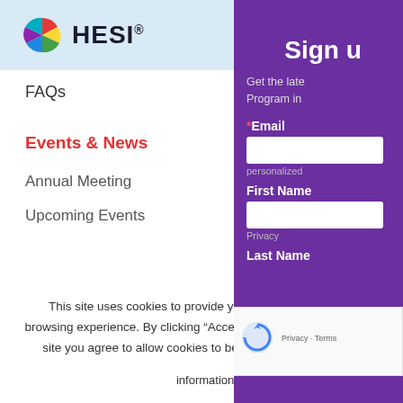HESI
FAQs
Events & News
Annual Meeting
Upcoming Events
Publications
Peer-Reviewed Publications
This site uses cookies to provide you with a personalized browsing experience. By clicking “Accept” or continuing to use the site you agree to allow cookies to be placed and accept the terms set out in our [Privacy Notice]. Please read the Privacy Notice for more information on how we handle information collected from users and how you can control the use of that information.
Cookie settings
ACCEPT
[Figure (screenshot): Purple sign-up panel with Sign up heading, email field, first name field, last name field, and reCAPTCHA widget]